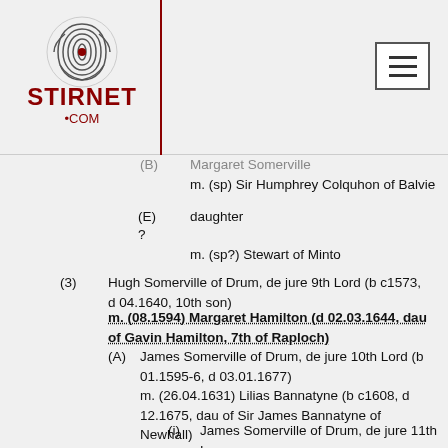[Figure (logo): Stirnet.com logo with fingerprint graphic in red and dark red text]
(B) Margaret Somerville
m. (sp) Sir Humphrey Colquhon of Balvie
(E)
?
daughter
m. (sp?) Stewart of Minto
(3) Hugh Somerville of Drum, de jure 9th Lord (b c1573, d 04.1640, 10th son)
m. (08.1594) Margaret Hamilton (d 02.03.1644, dau of Gavin Hamilton, 7th of Raploch)
(A) James Somerville of Drum, de jure 10th Lord (b 01.1595-6, d 03.01.1677)
m. (26.04.1631) Lilias Bannatyne (b c1608, d 12.1675, dau of Sir James Bannatyne of Newhall)
(i) James Somerville of Drum, de jure 11th Lord (bpt 24.01.1632, d 07.02.1693)
m1. (13.11.1651) Martha Bannatyne (b 1634, d 1676, dau of John Bannatyne of Corehouse)
(a) James Somerville (b 26.08.1652, dvp